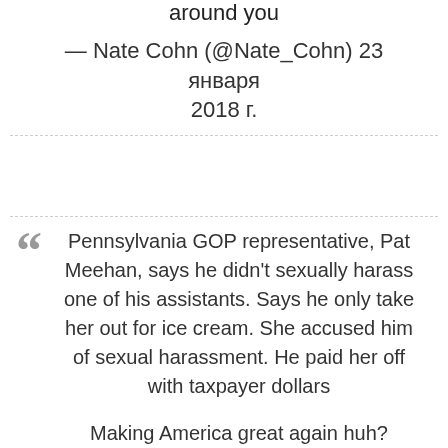around you
— Nate Cohn (@Nate_Cohn) 23 января 2018 г.
Pennsylvania GOP representative, Pat Meehan, says he didn't sexually harass one of his assistants. Says he only take her out for ice cream. She accused him of sexual harassment. He paid her off with taxpayer dollars

Making America great again huh?

One ice cream cone at a time